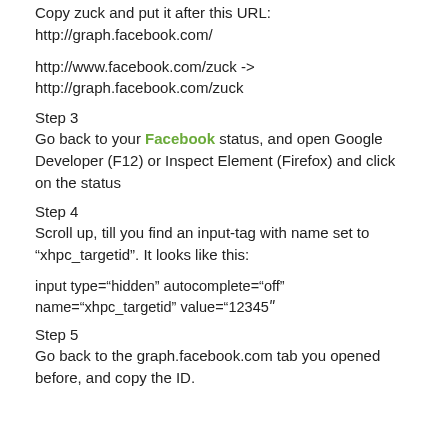Copy zuck and put it after this URL:
http://graph.facebook.com/
http://www.facebook.com/zuck ->
http://graph.facebook.com/zuck
Step 3
Go back to your Facebook status, and open Google Developer (F12) or Inspect Element (Firefox) and click on the status
Step 4
Scroll up, till you find an input-tag with name set to “xhpc_targetid”. It looks like this:
input type=“hidden” autocomplete=“off” name=“xhpc_targetid” value=“12345ʺ
Step 5
Go back to the graph.facebook.com tab you opened before, and copy the ID.